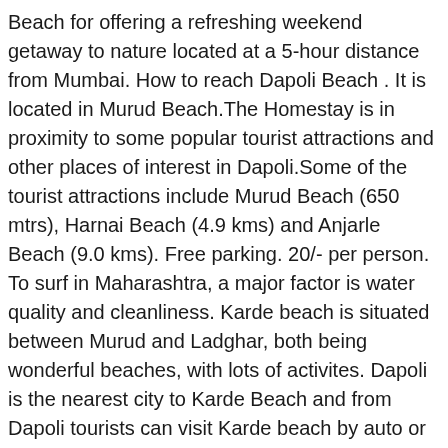Beach for offering a refreshing weekend getaway to nature located at a 5-hour distance from Mumbai. How to reach Dapoli Beach . It is located in Murud Beach.The Homestay is in proximity to some popular tourist attractions and other places of interest in Dapoli.Some of the tourist attractions include Murud Beach (650 mtrs), Harnai Beach (4.9 kms) and Anjarle Beach (9.0 kms). Free parking. 20/- per person. To surf in Maharashtra, a major factor is water quality and cleanliness. Karde beach is situated between Murud and Ladghar, both being wonderful beaches, with lots of activites. Dapoli is the nearest city to Karde Beach and from Dapoli tourists can visit Karde beach by auto or state transport buses to Karde. About Dapoli Beach Packages : Treat yourself to Dapoli Beach packages. Hi, wanted to know if anyone has recently travelled from Mumbai to Dapoli. Exotica Suvarna Samudra. Maharashtra state transport buses are available to reach Dapoli from all major cities of Maharashtra. 1500 and Get Amazing deals on MakeMyTrip Murud Beach Hotels. Rest and relaxation at the